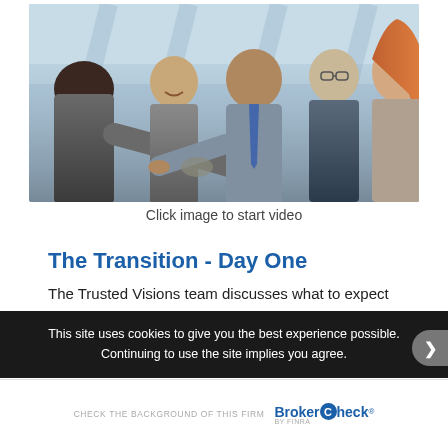[Figure (photo): Business professionals shaking hands in a modern office atrium, multiple people in suits]
Click image to start video
The Transition - Day One
The Trusted Visions team discusses what to expect and how to prepare for Day 1
This site uses cookies to give you the best experience possible. Continuing to use the site implies you agree.
CHECK THE BACKGROUND OF THIS FIRM   BrokerCheck by FINRA